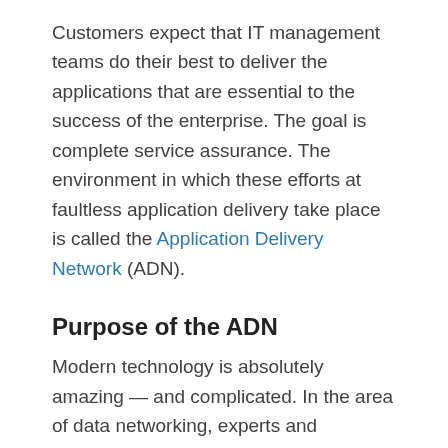Customers expect that IT management teams do their best to deliver the applications that are essential to the success of the enterprise. The goal is complete service assurance. The environment in which these efforts at faultless application delivery take place is called the Application Delivery Network (ADN).
Purpose of the ADN
Modern technology is absolutely amazing — and complicated. In the area of data networking, experts and engineers have figured out how to layer stacks of protocols and cleverly introduce the right combination of zeros and ones to create a feature-rich IT architecture. Volumes have been written, and intense classroom instruction given,